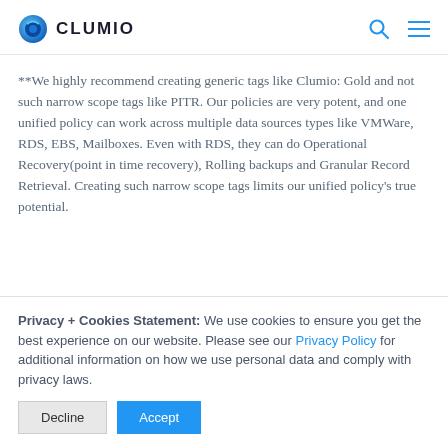CLUMIO
**We highly recommend creating generic tags like Clumio: Gold and not such narrow scope tags like PITR. Our policies are very potent, and one unified policy can work across multiple data sources types like VMWare, RDS, EBS, Mailboxes. Even with RDS, they can do Operational Recovery(point in time recovery), Rolling backups and Granular Record Retrieval. Creating such narrow scope tags limits our unified policy's true potential.
Privacy + Cookies Statement: We use cookies to ensure you get the best experience on our website. Please see our Privacy Policy for additional information on how we use personal data and comply with privacy laws.